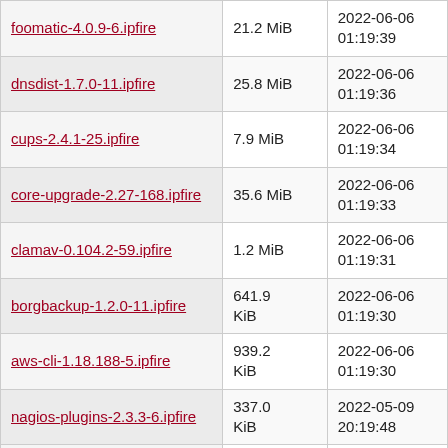| foomatic-4.0.9-6.ipfire | 21.2 MiB | 2022-06-06 01:19:39 |
| dnsdist-1.7.0-11.ipfire | 25.8 MiB | 2022-06-06 01:19:36 |
| cups-2.4.1-25.ipfire | 7.9 MiB | 2022-06-06 01:19:34 |
| core-upgrade-2.27-168.ipfire | 35.6 MiB | 2022-06-06 01:19:33 |
| clamav-0.104.2-59.ipfire | 1.2 MiB | 2022-06-06 01:19:31 |
| borgbackup-1.2.0-11.ipfire | 641.9 KiB | 2022-06-06 01:19:30 |
| aws-cli-1.18.188-5.ipfire | 939.2 KiB | 2022-06-06 01:19:30 |
| nagios-plugins-2.3.3-6.ipfire | 337.0 KiB | 2022-05-09 20:19:48 |
| wio-1.3.2-14.ipfire | 46.2 KiB | 2022-05-03 05:19:59 |
| tshark-3.4.7-11.ipfire | 16.8 MiB | 2022-05-03 05:19:58 |
| tor-0.4.6.10-68.ipfire | 2.2 MiB | 2022-05-03 05:19:56 |